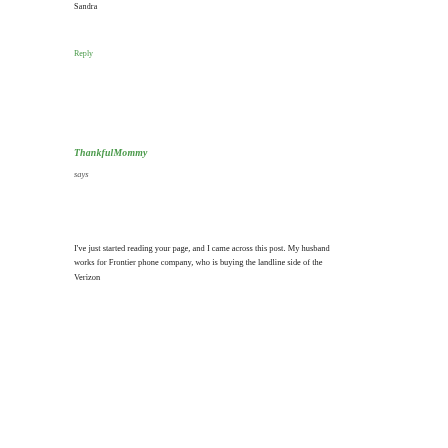Sandra
Reply
ThankfulMommy
says
I've just started reading your page, and I came across this post. My husband works for Frontier phone company, who is buying the landline side of the Verizon